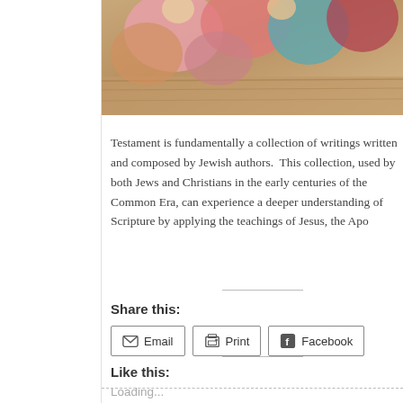[Figure (illustration): Partial religious painting showing figures with colorful garments - pinks, reds, teals - resting on a wooden surface]
Testament is fundamentally a collection of writings written and composed by Jewish authors. This collection, used by both Jews and Christians in the early centuries of the Common Era, can experience a deeper understanding of Scripture by applying the teachings of Jesus, the Apo...
Share this:
Email
Print
Facebook
Like this:
Loading...